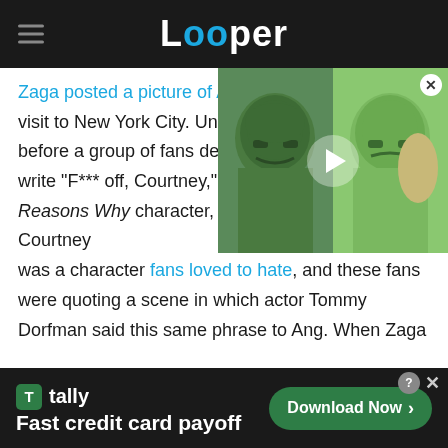Looper
[Figure (screenshot): Video thumbnail showing two green Hulk-like characters side by side with a play button overlay]
Zaga posted a picture of An visit to New York City. Unfor before a group of fans desc write "F*** off, Courtney," in reference to Ang's 13 Reasons Why character, Courtney Crimsen. Courtney was a character fans loved to hate, and these fans were quoting a scene in which actor Tommy Dorfman said this same phrase to Ang. When Zaga
[Figure (screenshot): Tally advertisement banner: Fast credit card payoff - Download Now button]